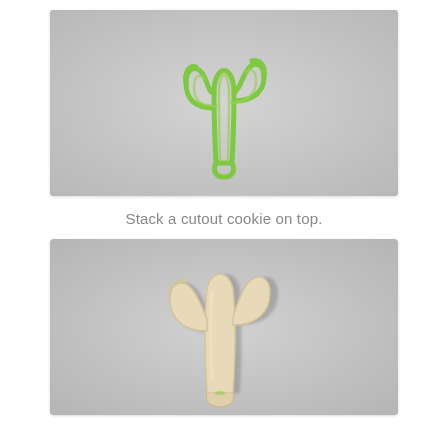[Figure (photo): A green plastic cactus-shaped cookie cutter placed on a light grey surface, showing the outline of a saguaro cactus with cutout interior areas.]
Stack a cutout cookie on top.
[Figure (photo): A baked shortbread cutout cookie in the shape of a saguaro cactus, light tan/cream colored, placed on a light grey surface, with a small visible gap showing the green cutter beneath.]